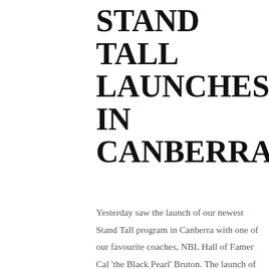STAND TALL LAUNCHES IN CANBERRA
Yesterday saw the launch of our newest Stand Tall program in Canberra with one of our favourite coaches, NBL Hall of Famer Cal 'the Black Pearl' Bruton. The launch of the Stand Tall program took place at St.Francis Xavier College with a group of newly arrived refugee, humanitarian background, and Indigenous students. A big thanks to Leilah Ayton the Inclusive Education Educator who has worked together with Charity bounce to launch the weekly program. The participants will be a part of the...